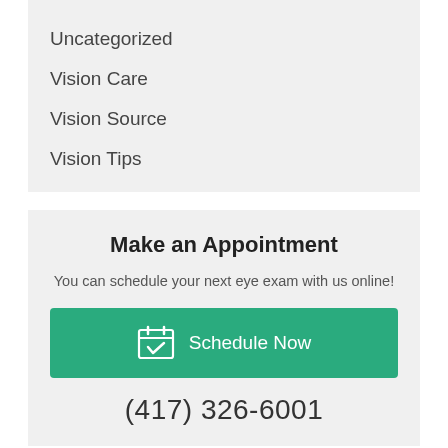Uncategorized
Vision Care
Vision Source
Vision Tips
Make an Appointment
You can schedule your next eye exam with us online!
Schedule Now
(417) 326-6001